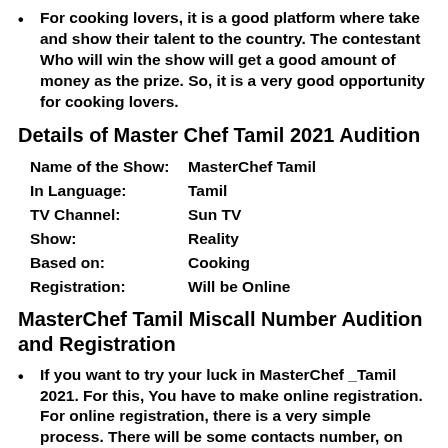For cooking lovers, it is a good platform where take and show their talent to the country. The contestant Who will win the show will get a good amount of money as the prize. So, it is a very good opportunity for cooking lovers.
Details of Master Chef Tamil 2021 Audition
| Field | Value |
| --- | --- |
| Name of the Show: | MasterChef Tamil |
| In Language: | Tamil |
| TV Channel: | Sun TV |
| Show: | Reality |
| Based on: | Cooking |
| Registration: | Will be Online |
MasterChef Tamil Miscall Number Audition and Registration
If you want to try your luck in MasterChef _Tamil 2021. For this, You have to make online registration. For online registration, there is a very simple process. There will be some contacts number, on which you have to give a missed call. After giving a missed call on these